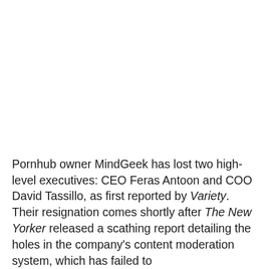Pornhub owner MindGeek has lost two high-level executives: CEO Feras Antoon and COO David Tassillo, as first reported by Variety. Their resignation comes shortly after The New Yorker released a scathing report detailing the holes in the company's content moderation system, which has failed to